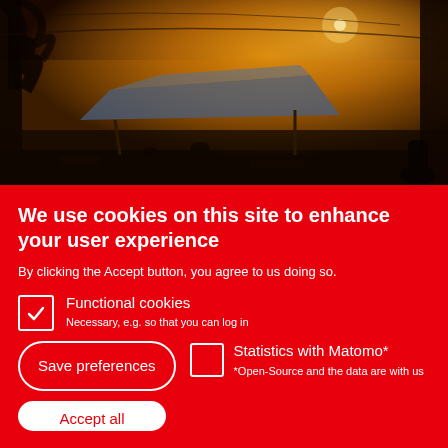[Figure (photo): Night scene with warm orange/amber fog or smoke haze over a camp or outdoor market with tarps/tents, silhouetted trees and figures, dim artificial lighting]
We use cookies on this site to enhance your user experience
By clicking the Accept button, you agree to us doing so.
Functional cookies
Necessary, e.g. so that you can log in
Statistics with Matomo*
*Open-Source and the data are with us
Save preferences
Accept all cookies